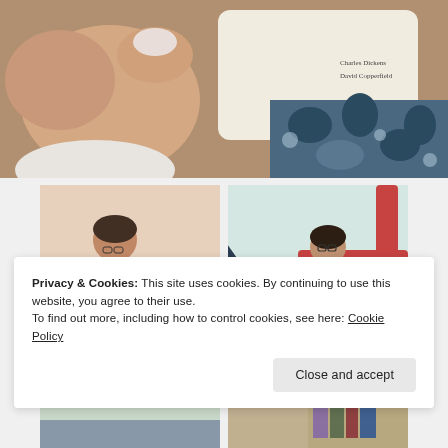[Figure (photo): A hand holding a book or card showing text 'Charles Dickens David Copperfield', with a blue floral patterned fabric in the background]
[Figure (photo): A girl in a pink shirt sitting and reading, looking down, vintage/Instagram filter applied]
[Figure (photo): A girl with glasses on playground equipment, looking at camera, vintage/Instagram filter applied]
[Figure (photo): Partially visible photo at the bottom left, color-tinted]
[Figure (photo): Partially visible photo at the bottom right, color-tinted]
Privacy & Cookies: This site uses cookies. By continuing to use this website, you agree to their use.
To find out more, including how to control cookies, see here: Cookie Policy
Close and accept